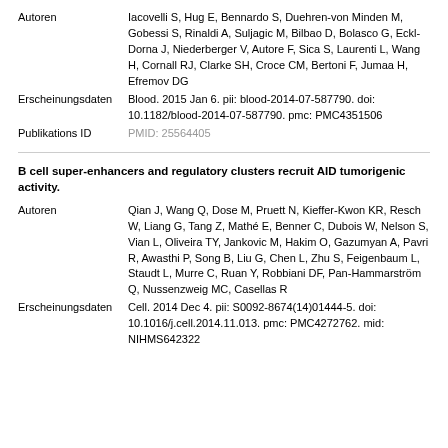Autoren
Iacovelli S, Hug E, Bennardo S, Duehren-von Minden M, Gobessi S, Rinaldi A, Suljagic M, Bilbao D, Bolasco G, Eckl-Dorna J, Niederberger V, Autore F, Sica S, Laurenti L, Wang H, Cornall RJ, Clarke SH, Croce CM, Bertoni F, Jumaa H, Efremov DG
Erscheinungsdaten
Blood. 2015 Jan 6. pii: blood-2014-07-587790. doi: 10.1182/blood-2014-07-587790. pmc: PMC4351506
Publikations ID
PMID: 25564405
B cell super-enhancers and regulatory clusters recruit AID tumorigenic activity.
Autoren
Qian J, Wang Q, Dose M, Pruett N, Kieffer-Kwon KR, Resch W, Liang G, Tang Z, Mathé E, Benner C, Dubois W, Nelson S, Vian L, Oliveira TY, Jankovic M, Hakim O, Gazumyan A, Pavri R, Awasthi P, Song B, Liu G, Chen L, Zhu S, Feigenbaum L, Staudt L, Murre C, Ruan Y, Robbiani DF, Pan-Hammarström Q, Nussenzweig MC, Casellas R
Erscheinungsdaten
Cell. 2014 Dec 4. pii: S0092-8674(14)01444-5. doi: 10.1016/j.cell.2014.11.013. pmc: PMC4272762. mid: NIHMS642322